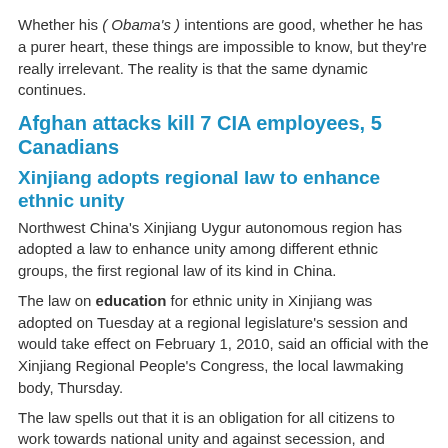Whether his ( Obama's ) intentions are good, whether he has a purer heart, these things are impossible to know, but they're really irrelevant. The reality is that the same dynamic continues.
Afghan attacks kill 7 CIA employees, 5 Canadians
Xinjiang adopts regional law to enhance ethnic unity
Northwest China's Xinjiang Uygur autonomous region has adopted a law to enhance unity among different ethnic groups, the first regional law of its kind in China.
The law on education for ethnic unity in Xinjiang was adopted on Tuesday at a regional legislature's session and would take effect on February 1, 2010, said an official with the Xinjiang Regional People's Congress, the local lawmaking body, Thursday.
The law spells out that it is an obligation for all citizens to work towards national unity and against secession, and defines the principles, ways and content of ethnic unity education with regards to all people in Xinjiang, said Eligen Imibakhi, chairman of the Standing Committee of the Xinjiang Regional People's Congress.
[Figure (logo): TPM logo — white bold text 'TPM' on dark red background]